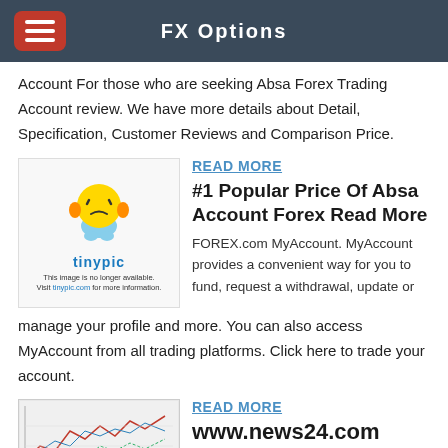FX Options
Account For those who are seeking Absa Forex Trading Account review. We have more details about Detail, Specification, Customer Reviews and Comparison Price.
[Figure (illustration): Tinypic placeholder image showing a frustrated emoji character with the tinypic logo and a notice that the image is no longer available.]
READ MORE
#1 Popular Price Of Absa Account Forex Read More
FOREX.com MyAccount. MyAccount provides a convenient way for you to fund, request a withdrawal, update or manage your profile and more. You can also access MyAccount from all trading platforms. Click here to trade your account.
[Figure (screenshot): A financial chart screenshot (news24.com related)]
READ MORE
www.news24.com